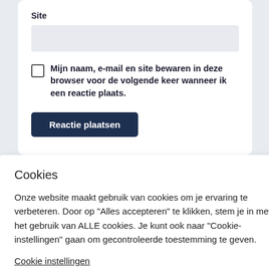Site
Mijn naam, e-mail en site bewaren in deze browser voor de volgende keer wanneer ik een reactie plaats.
Reactie plaatsen
Cookies
Onze website maakt gebruik van cookies om je ervaring te verbeteren. Door op "Alles accepteren" te klikken, stem je in met het gebruik van ALLE cookies. Je kunt ook naar "Cookie-instellingen" gaan om gecontroleerde toestemming te geven.
Cookie instellingen
Alles accepteren
minderen. Bekijk